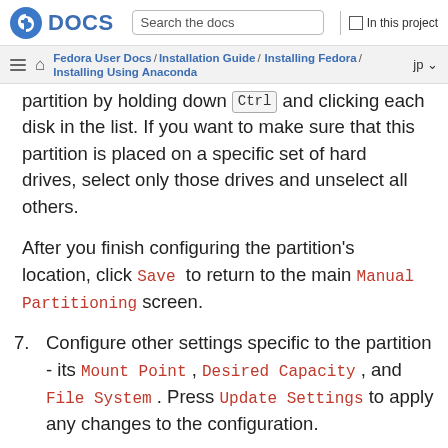Fedora DOCS | Search the docs | In this project
Fedora User Docs / Installation Guide / Installing Fedora / Installing Using Anaconda | jp
partition by holding down Ctrl and clicking each disk in the list. If you want to make sure that this partition is placed on a specific set of hard drives, select only those drives and unselect all others.
After you finish configuring the partition's location, click Save to return to the main Manual Partitioning screen.
7. Configure other settings specific to the partition - its Mount Point, Desired Capacity, and File System. Press Update Settings to apply any changes to the configuration.